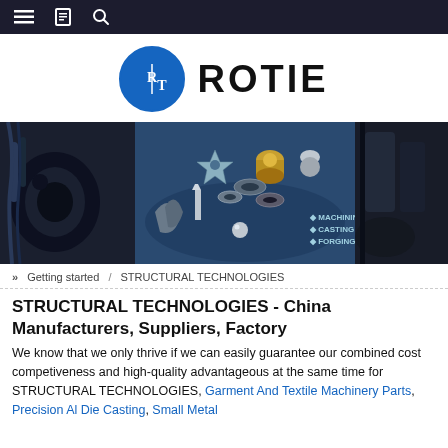Navigation bar with menu, bookmark, and search icons
[Figure (logo): ROTIE company logo: blue circle with R|T letters and ROTIE text in bold black]
[Figure (photo): Hero banner showing machining parts, casting parts, and forging parts on a dark metallic background with text: MACHINING PARTS, CASTING PARTS, FORGING PARTS]
» Getting started / STRUCTURAL TECHNOLOGIES
STRUCTURAL TECHNOLOGIES - China Manufacturers, Suppliers, Factory
We know that we only thrive if we can easily guarantee our combined cost competiveness and high-quality advantageous at the same time for STRUCTURAL TECHNOLOGIES, Garment And Textile Machinery Parts, Precision Al Die Casting, Small Metal Parts, Sand Casting Machine, Car Forging, Core Principle Th...